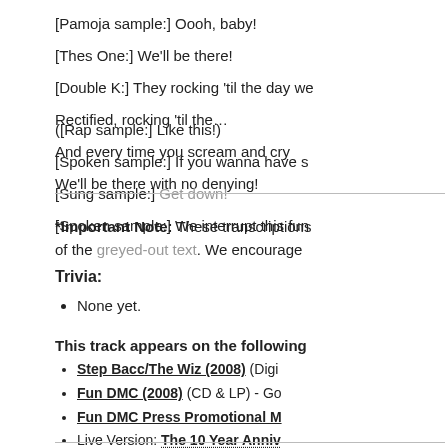[Pamoja sample:] Oooh, baby!
[Thes One:] We'll be there!
[Double K:] They rocking 'til the day we...
Rectified, rocking 'til the…
And every time you scream and cry
We'll be there with no denying!
([Rap sample:] Like this!)
[Spoken sample:] If you wanna have s...
[Sung sample:] Get down!
[Spoken sample:] We interrupt this fun...
*Important Note: These transcriptions... of the greyed-out text. We encourage...
Trivia:
None yet.
This track appears on the following...
Step Bacc/The Wiz (2008) (Digi...
Fun DMC (2008) (CD & LP) - Go...
Fun DMC Press Promotional M...
Live Version: The 10 Year Anniv...
Live Version: Big Sky Shakedo...